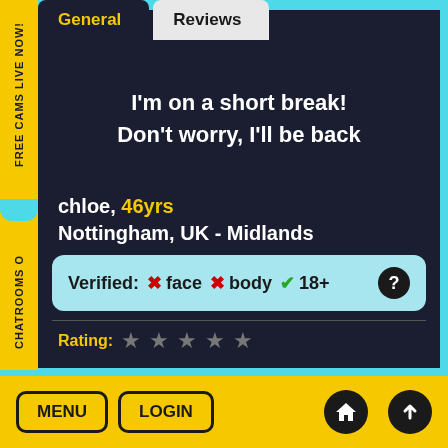General | Reviews
I'm on a short break!
Don't worry, I'll be back
chloe, 46yrs
Nottingham, UK - Midlands
Verified: ✗ face ✗ body ✓18+ ?
Rating: ★ ★ ★ ★ ★
FREE CAMS LIVE NOW!
Chatrooms o
MENU | LOGIN